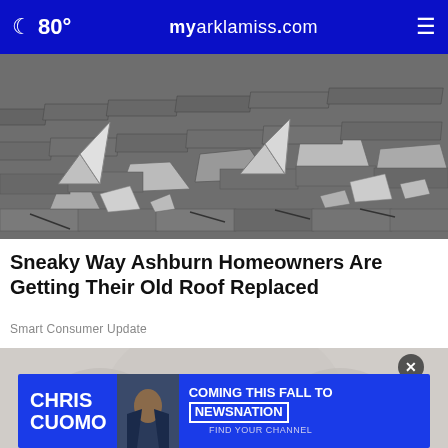🌙 80° myarklamiss.com ☰
[Figure (photo): Black and white photo of damaged roof with curling and cracked asphalt shingles]
Sneaky Way Ashburn Homeowners Are Getting Their Old Roof Replaced
Smart Consumer Update
[Figure (photo): Advertisement overlay featuring Chris Cuomo Coming This Fall to NewsNation - Find Your Channel, with person photo, on a light background]